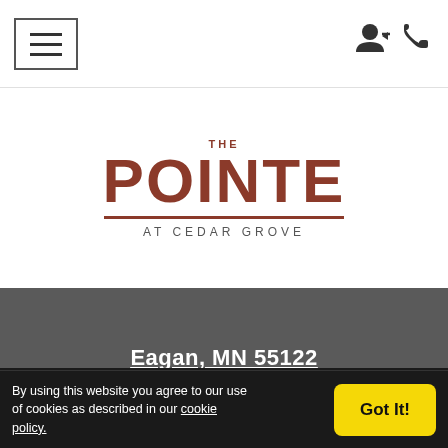Navigation bar with hamburger menu and icons
THE POINTE AT CEDAR GROVE
Eagan, MN 55122
(651) 337-7252
RESIDENT LOGIN   APPLICANT LOGIN   TERMS AND CONDITIONS   PRIVACY POLICY
By using this website you agree to our use of cookies as described in our cookie policy.